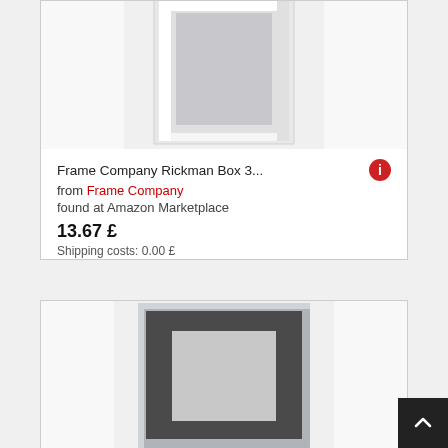[Figure (photo): White picture frame (Rickman Box) viewed from front, partially cropped at top]
Frame Company Rickman Box 3...
from Frame Company
found at Amazon Marketplace
13.67 £
Shipping costs: 0.00 £
[Figure (photo): Silver/grey picture frame with dark grey mount, viewed from front]